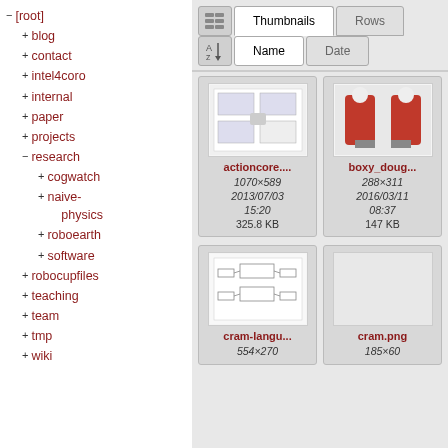− [root]
+ blog
+ contact
+ intel4coro
+ internal
+ paper
+ projects
− research
+ cogwatch
+ naive-physics
+ roboearth
+ software
+ robocupfiles
+ teaching
+ team
+ tmp
+ wiki
[Figure (screenshot): File browser interface with Thumbnails/Rows toggle and Name/Date sort. Four thumbnail cards shown: actioncore.... (1070×589, 2013/07/03 15:20, 325.8 KB), boxy_doug... (288×311, 2016/03/11 08:37, 147 KB), cram-langu... (554×270), cram.png (185×60)]